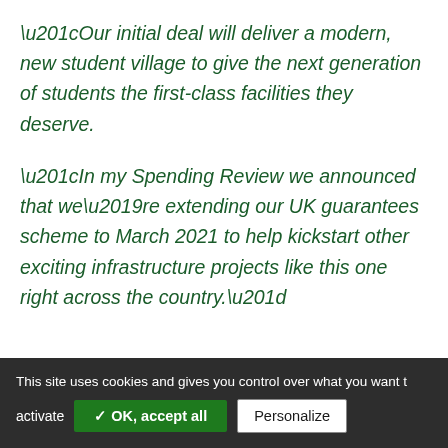“Our initial deal will deliver a modern, new student village to give the next generation of students the first-class facilities they deserve.
“In my Spending Review we announced that we’re extending our UK guarantees scheme to March 2021 to help kickstart other exciting infrastructure projects like this one right across the country.”
This site uses cookies and gives you control over what you want to activate